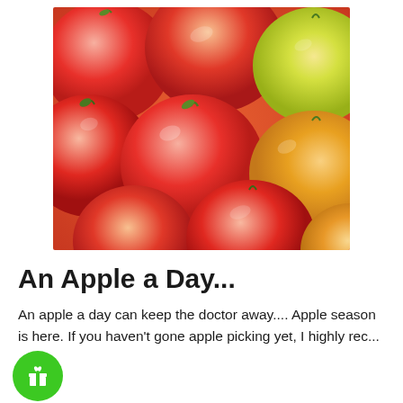[Figure (photo): Close-up photo of a pile of red and yellow apples filling the entire frame]
An Apple a Day...
An apple a day can keep the doctor away.... Apple season is here. If you haven't gone apple picking yet, I highly rec...